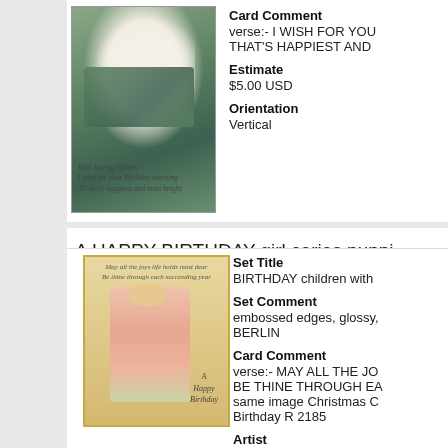Card Comment
verse:- I WISH FOR YOU THAT'S HAPPIEST AND
Estimate
$5.00 USD
Orientation
Vertical
[Figure (photo): Vintage birthday postcard with white dog on green cushion and cursive script 'With Loving Wishes' and verse]
A HAPPY BIRTHDAY girl caries puppi
Set Title
BIRTHDAY children with
Set Comment
embossed edges, glossy, BERLIN
Card Comment
verse:- MAY ALL THE JO BE THINE THROUGH EA same image Christmas C Birthday R 2185
Artist
[Figure (photo): Vintage birthday postcard with girl in pink dress carrying basket of flowers with cursive script 'A Happy Birthday']